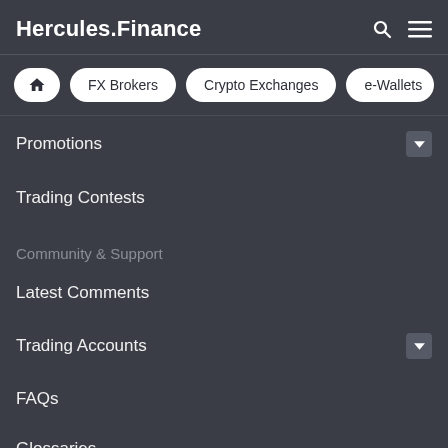Hercules.Finance
Home
FX Brokers
Crypto Exchanges
e-Wallets
Promotions
Trading Contests
Community & Support
Latest Comments
Trading Accounts
FAQs
Glossaries
Events
News